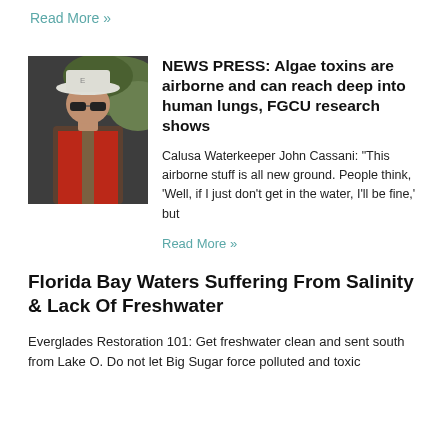Read More »
[Figure (photo): Person wearing a white hat and sunglasses, with a red vest, outdoors near a dock or waterway.]
NEWS PRESS: Algae toxins are airborne and can reach deep into human lungs, FGCU research shows
Calusa Waterkeeper John Cassani: "This airborne stuff is all new ground. People think, 'Well, if I just don't get in the water, I'll be fine,' but
Read More »
Florida Bay Waters Suffering From Salinity & Lack Of Freshwater
Everglades Restoration 101: Get freshwater clean and sent south from Lake O. Do not let Big Sugar force polluted and toxic